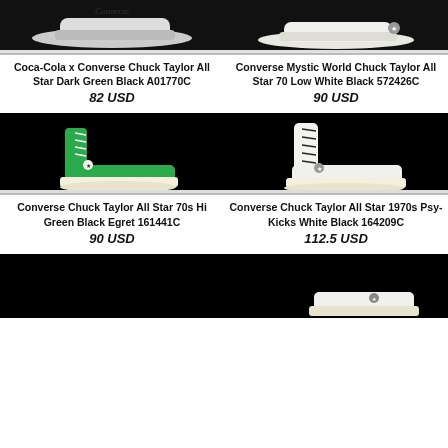[Figure (photo): Coca-Cola x Converse Chuck Taylor All Star Dark Green Black sneaker on black background with ruler]
[Figure (photo): Converse Mystic World Chuck Taylor All Star 70 Low White Black sneaker on black background with ruler]
Coca-Cola x Converse Chuck Taylor All Star Dark Green Black A01770C
82 USD
Converse Mystic World Chuck Taylor All Star 70 Low White Black 572426C
90 USD
[Figure (photo): Converse Chuck Taylor All Star 70s Hi Green Black Egret 161441C sneaker on black background]
[Figure (photo): Converse Chuck Taylor All Star 1970s Psy-Kicks White Black 164209C sneaker on black background]
Converse Chuck Taylor All Star 70s Hi Green Black Egret 161441C
90 USD
Converse Chuck Taylor All Star 1970s Psy-Kicks White Black 164209C
112.5 USD
[Figure (photo): Partial sneaker image on black background (bottom left, cropped)]
[Figure (photo): Partial white sneaker image on black background (bottom right, cropped)]